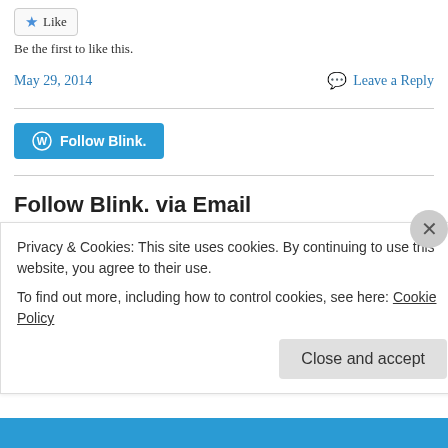[Figure (other): Like button with star icon]
Be the first to like this.
May 29, 2014
Leave a Reply
[Figure (other): Follow Blink button with WordPress logo]
Follow Blink. via Email
Enter your email address to keep up to date with all things Blink.
Privacy & Cookies: This site uses cookies. By continuing to use this website, you agree to their use.
To find out more, including how to control cookies, see here: Cookie Policy
Close and accept